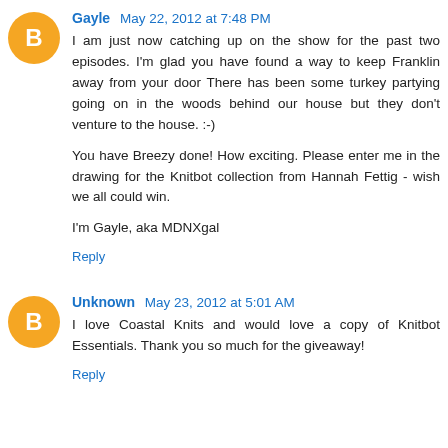Gayle May 22, 2012 at 7:48 PM
I am just now catching up on the show for the past two episodes. I'm glad you have found a way to keep Franklin away from your door There has been some turkey partying going on in the woods behind our house but they don't venture to the house. :-)

You have Breezy done! How exciting. Please enter me in the drawing for the Knitbot collection from Hannah Fettig - wish we all could win.

I'm Gayle, aka MDNXgal
Reply
Unknown May 23, 2012 at 5:01 AM
I love Coastal Knits and would love a copy of Knitbot Essentials. Thank you so much for the giveaway!
Reply